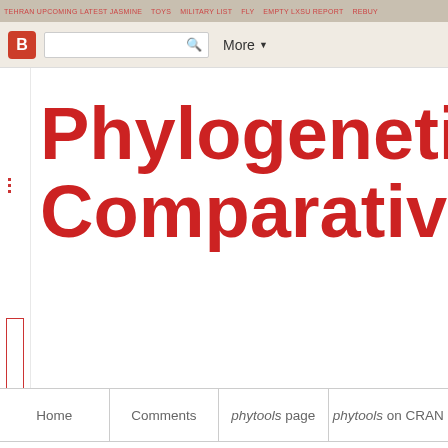Blogger toolbar with search and More button
Phylogenetic To Comparative B
Home | Comments | phytools page | phytools on CRAN
Saturday, April 30, 2016